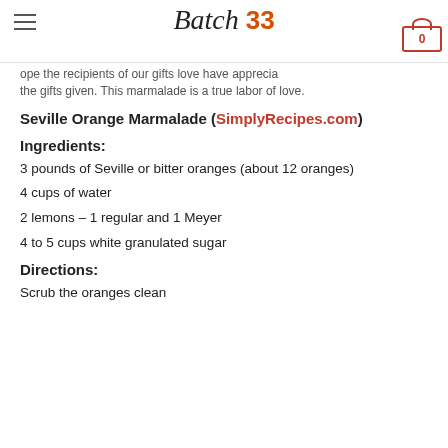Batch 33 — navigation header
hope the recipients of our gifts love have apprecia... the gifts given. This marmalade is a true labor of love.
Seville Orange Marmalade (SimplyRecipes.com)
Ingredients:
3 pounds of Seville or bitter oranges (about 12 oranges)
4 cups of water
2 lemons – 1 regular and 1 Meyer
4 to 5 cups white granulated sugar
Directions:
Scrub the oranges clean